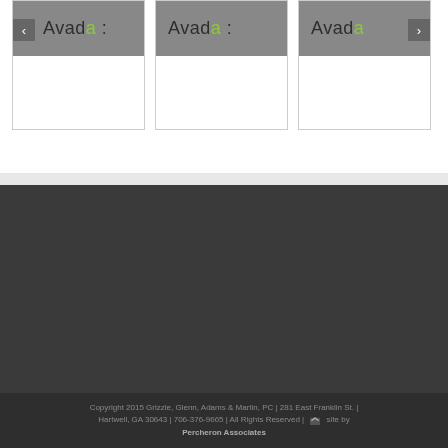[Figure (screenshot): Carousel/slider showing three slide cards, each with 'Avada :' logo text on a gray header background. Left card has a left arrow nav button, right card has a right arrow nav button. The letter 'a' in 'Avad' is colored green.]
Copyright 2015 Grizzle, Glenn, Adams & Martin, PC | 281 East Franklin St. | Hartwell, GA 30643 | 706-376-9665 | All Rights Reserved | Website by Percheron Associates